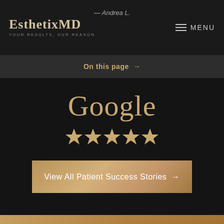EsthetixMD — YOUR RESULTS, OUR REASON
— Andrea L.
MENU
On this page →
Google
[Figure (infographic): Five gold star rating icons displayed in a row]
View All Patient Success Stories →
541-303-9155
Appointment
Experience the Best Medspa